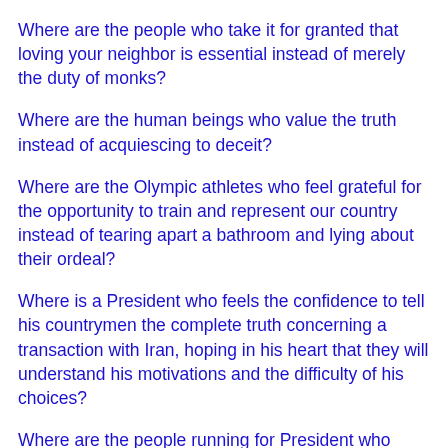Where are the people who take it for granted that loving your neighbor is essential instead of merely the duty of monks?
Where are the human beings who value the truth instead of acquiescing to deceit?
Where are the Olympic athletes who feel grateful for the opportunity to train and represent our country instead of tearing apart a bathroom and lying about their ordeal?
Where is a President who feels the confidence to tell his countrymen the complete truth concerning a transaction with Iran, hoping in his heart that they will understand his motivations and the difficulty of his choices?
Where are the people running for President who would